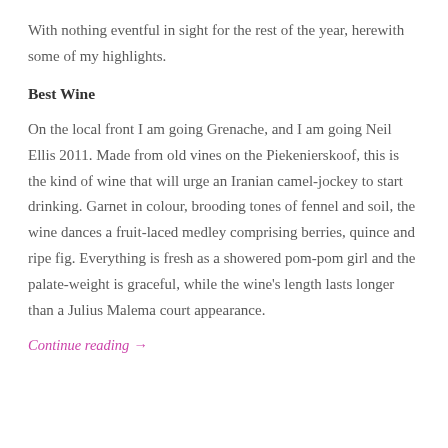With nothing eventful in sight for the rest of the year, herewith some of my highlights.
Best Wine
On the local front I am going Grenache, and I am going Neil Ellis 2011. Made from old vines on the Piekenierskoof, this is the kind of wine that will urge an Iranian camel-jockey to start drinking. Garnet in colour, brooding tones of fennel and soil, the wine dances a fruit-laced medley comprising berries, quince and ripe fig. Everything is fresh as a showered pom-pom girl and the palate-weight is graceful, while the wine’s length lasts longer than a Julius Malema court appearance.
Continue reading →